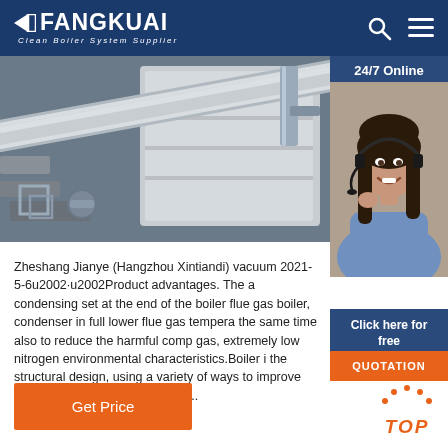FANGKUAI Clean Boiler System Supplier
[Figure (photo): Industrial boiler pipes and equipment in a factory setting, diagonal pipe in foreground]
[Figure (photo): 24/7 Online customer service representative (woman with headset smiling)]
Zheshang Jianye (Hangzhou Xintiandi) vacuum 2021-5-6u2002·u2002Product advantages. The a condensing set at the end of the boiler flue gas boiler, condenser in full lower flue gas tempera the same time also to reduce the harmful comp gas, extremely low nitrogen environmental characteristics.Boiler i the structural design, using a variety of ways to improve the heat transfer area, so as to ...
Click here for free chat !
QUOTATION
Get Price
TOP